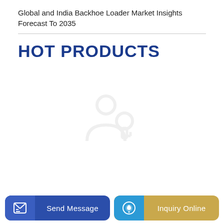Global and India Backhoe Loader Market Insights Forecast To 2035
HOT PRODUCTS
[Figure (illustration): Faint watermark/lock icon in center of page]
Send Message
Inquiry Online